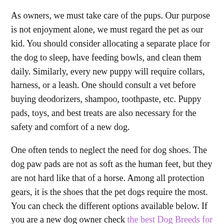As owners, we must take care of the pups. Our purpose is not enjoyment alone, we must regard the pet as our kid. You should consider allocating a separate place for the dog to sleep, have feeding bowls, and clean them daily. Similarly, every new puppy will require collars, harness, or a leash. One should consult a vet before buying deodorizers, shampoo, toothpaste, etc. Puppy pads, toys, and best treats are also necessary for the safety and comfort of a new dog.
One often tends to neglect the need for dog shoes. The dog paw pads are not as soft as the human feet, but they are not hard like that of a horse. Among all protection gears, it is the shoes that the pet dogs require the most. You can check the different options available below. If you are a new dog owner check the best Dog Breeds for first time owners.
1. Kurgo Step and Strobe Dog Boots:
These all-weather shoes are suitable for rugged surfaces and